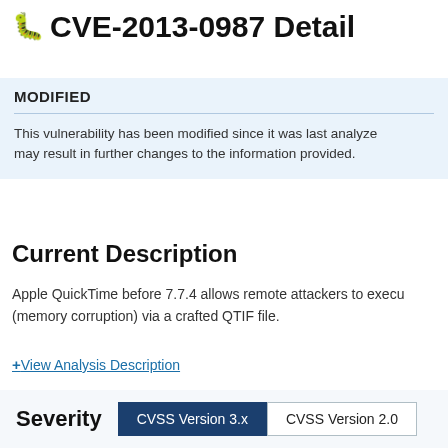CVE-2013-0987 Detail
MODIFIED
This vulnerability has been modified since it was last analyzed. may result in further changes to the information provided.
Current Description
Apple QuickTime before 7.7.4 allows remote attackers to execute (memory corruption) via a crafted QTIF file.
+View Analysis Description
Severity   CVSS Version 3.x   CVSS Version 2.0